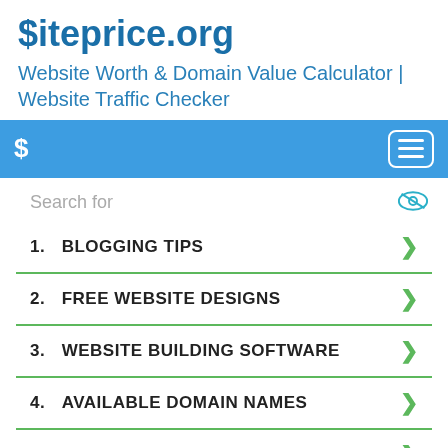$iteprice.org
Website Worth & Domain Value Calculator | Website Traffic Checker
[Figure (screenshot): Blue navigation bar with dollar sign icon on left and hamburger menu button on right]
Search for
1.  BLOGGING TIPS
2.  FREE WEBSITE DESIGNS
3.  WEBSITE BUILDING SOFTWARE
4.  AVAILABLE DOMAIN NAMES
5.  BEST SEO TIPS
6.  CREATE YOUR OWN BLOG